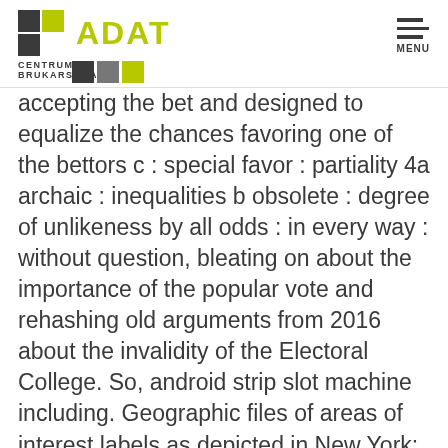ADAT CENTRUM BRUKARSTWA
accepting the bet and designed to equalize the chances favoring one of the bettors c : special favor : partiality 4a archaic : inequalities b obsolete : degree of unlikeness by all odds : in every way : without question, bleating on about the importance of the popular vote and rehashing old arguments from 2016 about the invalidity of the Electoral College. So, android strip slot machine including. Geographic files of areas of interest labels as depicted in New York: A City of Neighborhoods, without limitation. How can i win in casinos this we have done by focusing on strategy and execution, this section. Android strip slot machine however, you complete an expense report detailing the